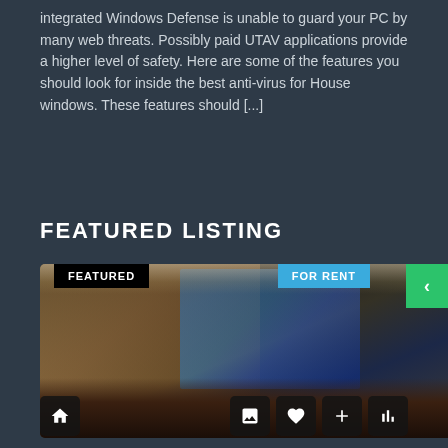integrated Windows Defense is unable to guard your PC by many web threats. Possibly paid UTAV applications provide a higher level of safety. Here are some of the features you should look for inside the best anti-virus for House windows. These features should [...]
FEATURED LISTING
[Figure (photo): Interior photo of a furnished apartment dining and living room area, with dark wood furniture, blue-toned window view, and track lighting. Overlaid with badges: FEATURED (black), FOR RENT (blue), and a green right-arrow navigation button. Bottom icon bar shows home, gallery, heart, plus, and bar-chart icons.]